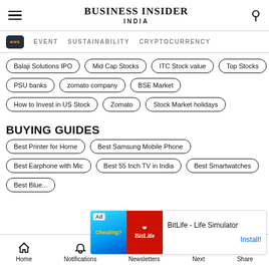BUSINESS INSIDER INDIA
EVENT | SUSTAINABILITY | CRYPTOCURRENCY
Balaji Solutions IPO
Mid Cap Stocks
ITC Stock value
Top Stocks
PSU banks
zomato company
BSE Market
How to Invest in US Stock
Zomato
Stock Market holidays
BUYING GUIDES
Best Printer for Home
Best Samsung Mobile Phone
Best Earphone with Mic
Best 55 Inch TV in India
Best Smartwatches
Best Blue...
[Figure (screenshot): Ad banner for BitLife - Life Simulator app with install button]
Home | Notifications | Newsletters | Next | Share